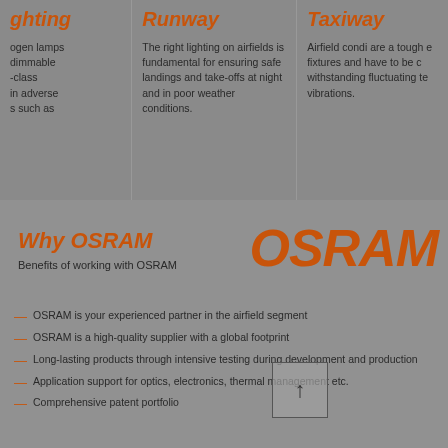ghting
ogen lamps
dimmable
-class
in adverse
s such as
Runway
The right lighting on airfields is fundamental for ensuring safe landings and take-offs at night and in poor weather conditions.
Taxiway
Airfield condi are a tough e fixtures and have to be c withstanding fluctuating te vibrations.
Why OSRAM
Benefits of working with OSRAM
[Figure (logo): OSRAM logo in large orange italic bold text]
OSRAM is your experienced partner in the airfield segment
OSRAM is a high-quality supplier with a global footprint
Long-lasting products through intensive testing during development and production
Application support for optics, electronics, thermal management etc.
Comprehensive patent portfolio